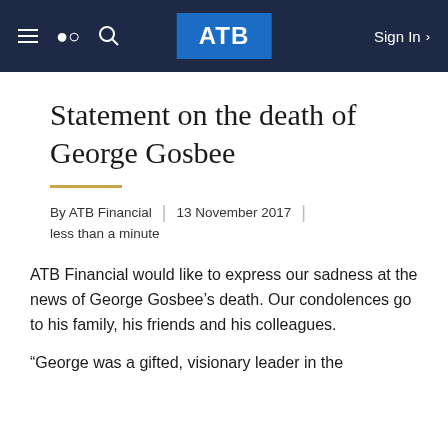ATB | Sign In
Statement on the death of George Gosbee
By ATB Financial | 13 November 2017 | less than a minute
ATB Financial would like to express our sadness at the news of George Gosbee’s death. Our condolences go to his family, his friends and his colleagues.
“George was a gifted, visionary leader in the